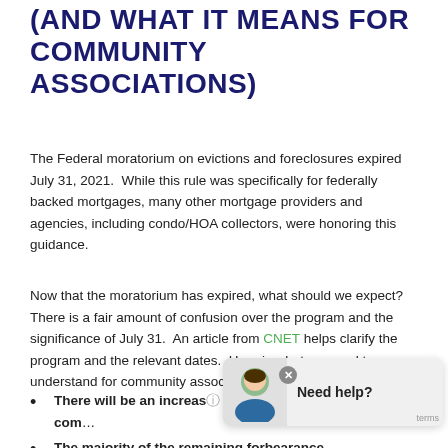(AND WHAT IT MEANS FOR COMMUNITY ASSOCIATIONS)
The Federal moratorium on evictions and foreclosures expired July 31, 2021.  While this rule was specifically for federally backed mortgages, many other mortgage providers and agencies, including condo/HOA collectors, were honoring this guidance.
Now that the moratorium has expired, what should we expect?  There is a fair amount of confusion over the program and the significance of July 31.  An article from CNET helps clarify the program and the relevant dates.  Here is what we need to understand for community associations:
There will be an increas… in …HOA foreclosures in the com…
The majority of the remaining forbearance… …will expire between September 30…